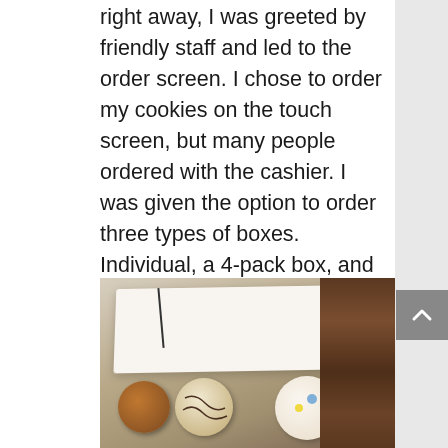right away, I was greeted by friendly staff and led to the order screen. I chose to order my cookies on the touch screen, but many people ordered with the cashier. I was given the option to order three types of boxes. Individual, a 4-pack box, and a party box (12 cookies). While I liked these options, I found them a bit problematic as any family over 4 people might have to order individually, possibly making their order more expensive. Not to worry, however. Crumb's ordering process is smooth and simple, with my order coming out ready only 5 minutes later.
[Figure (photo): A white rectangular cookie box open on a wooden table, with several decorated cookies visible inside including what appears to be cookies with frosting, sprinkles, and decorations.]